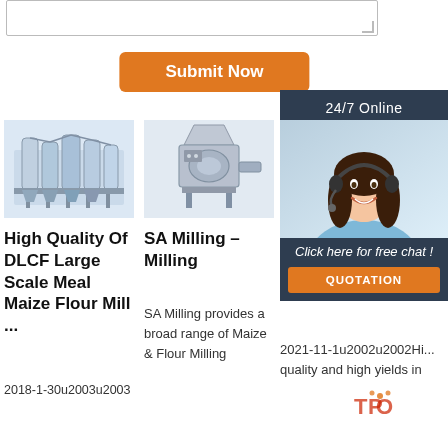[Figure (other): Textarea input box (form element)]
Submit Now
[Figure (other): 24/7 Online support panel with woman in headset, Click here for free chat!, QUOTATION button]
[Figure (photo): High Quality Of DLCF Large Scale Meal Maize Flour Mill product image]
High Quality Of DLCF Large Scale Meal Maize Flour Mill ...
2018-1-30u2003u2003
[Figure (photo): SA Milling – Milling product image]
SA Milling – Milling
SA Milling provides a broad range of Maize & Flour Milling
[Figure (photo): W... G... Milling product image (partially visible)]
W... G... Milling
2021-11-1u2002u2002Hi... quality and high yields in